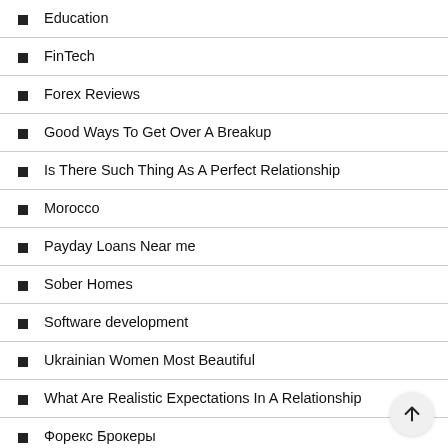Education
FinTech
Forex Reviews
Good Ways To Get Over A Breakup
Is There Such Thing As A Perfect Relationship
Morocco
Payday Loans Near me
Sober Homes
Software development
Ukrainian Women Most Beautiful
What Are Realistic Expectations In A Relationship
Форекс Брокеры